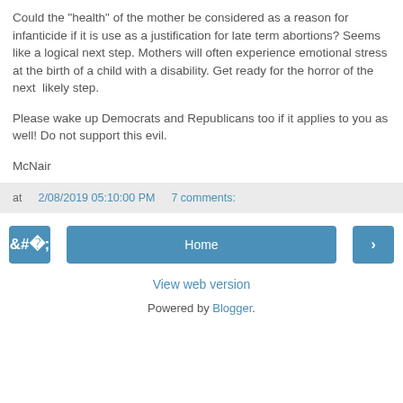Could the "health" of the mother be considered as a reason for infanticide if it is use as a justification for late term abortions? Seems like a logical next step. Mothers will often experience emotional stress at the birth of a child with a disability. Get ready for the horror of the next  likely step.
Please wake up Democrats and Republicans too if it applies to you as well! Do not support this evil.
McNair
at 2/08/2019 05:10:00 PM   7 comments:
< Home >
View web version
Powered by Blogger.